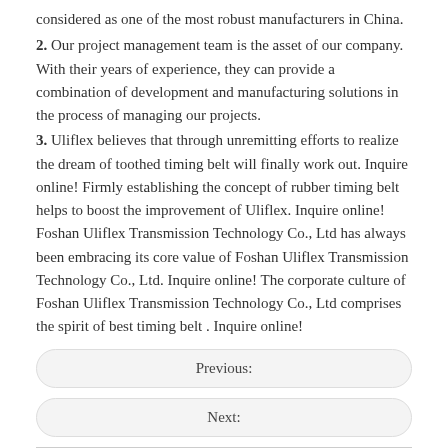considered as one of the most robust manufacturers in China.
2. Our project management team is the asset of our company. With their years of experience, they can provide a combination of development and manufacturing solutions in the process of managing our projects.
3. Uliflex believes that through unremitting efforts to realize the dream of toothed timing belt will finally work out. Inquire online! Firmly establishing the concept of rubber timing belt helps to boost the improvement of Uliflex. Inquire online! Foshan Uliflex Transmission Technology Co., Ltd has always been embracing its core value of Foshan Uliflex Transmission Technology Co., Ltd. Inquire online! The corporate culture of Foshan Uliflex Transmission Technology Co., Ltd comprises the spirit of best timing belt . Inquire online!
Previous:
Next:
polyurethane belt
timing belt water pump